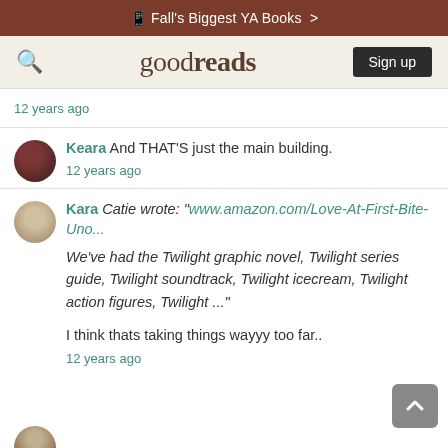Fall's Biggest YA Books >
goodreads — Sign up
12 years ago
Keara And THAT'S just the main building.
12 years ago
Kara Catie wrote: "www.amazon.com/Love-At-First-Bite-Uno...

We've had the Twilight graphic novel, Twilight series guide, Twilight soundtrack, Twilight icecream, Twilight action figures, Twilight ..."

I think thats taking things wayyy too far..
12 years ago